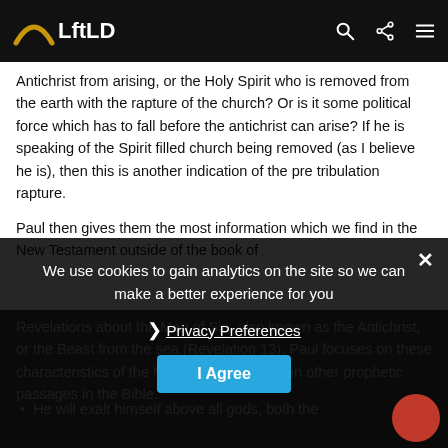LftLD
Antichrist from arising, or the Holy Spirit who is removed from the earth with the rapture of the church?  Or is it some political force which has to fall before the antichrist can arise?  If he is speaking of the Spirit filled church being removed (as I believe he is), then this is another indication of the pre tribulation rapture.
Paul then gives them the most information which we find in the New Testament outside of the book of Revelations about the Man of Sin, also known as the Antichrist, or the Beast from the sea (Revelation 13).  Paul focuses on these characteristics of the Man of Sin not found in other prophetic passages in the Bible.
We use cookies to gain analytics on the site so we can make a better experience for you
Privacy Preferences
I Agree
He will exalt himself above all gods, both the